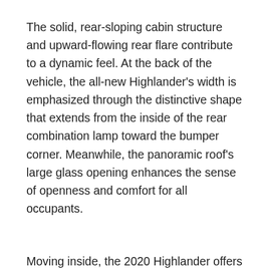The solid, rear-sloping cabin structure and upward-flowing rear flare contribute to a dynamic feel. At the back of the vehicle, the all-new Highlander's width is emphasized through the distinctive shape that extends from the inside of the rear combination lamp toward the bumper corner. Meanwhile, the panoramic roof's large glass opening enhances the sense of openness and comfort for all occupants.
Moving inside, the 2020 Highlander offers a comfortable, premium quality environment with impressive flexibility. The seven-seat vehicle's second row of seats has a sliding range of 180mm to ensure spacious third-row accommodation for two adults, together with easy access. The cabin provides plenty of storage compartments, as well as five USB charger